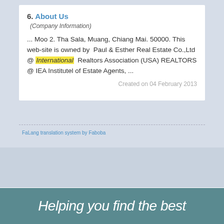6. About Us
(Company Information)
... Moo 2. Tha Sala, Muang, Chiang Mai. 50000. This web-site is owned by  Paul & Esther Real Estate Co.,Ltd @ International  Realtors Association (USA) REALTORS @ IEA Institutel of Estate Agents, ...
Created on 04 February 2013
FaLang translation system by Faboba
Helping you find the best